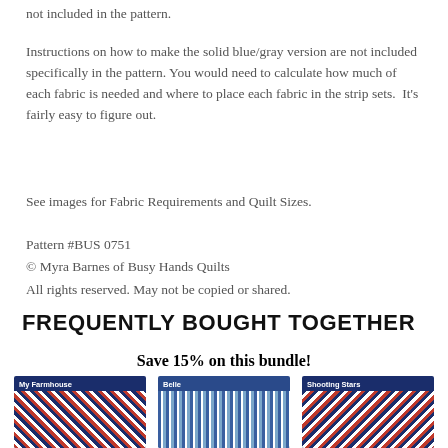not included in the pattern.
Instructions on how to make the solid blue/gray version are not included specifically in the pattern. You would need to calculate how much of each fabric is needed and where to place each fabric in the strip sets.  It's fairly easy to figure out.
See images for Fabric Requirements and Quilt Sizes.
Pattern #BUS 0751
© Myra Barnes of Busy Hands Quilts
All rights reserved. May not be copied or shared.
FREQUENTLY BOUGHT TOGETHER
Save 15% on this bundle!
[Figure (photo): Three quilt pattern product thumbnails: My Farmhouse, Belle, and Shooting Stars]
My Farmhouse | Belle | Shooting Stars